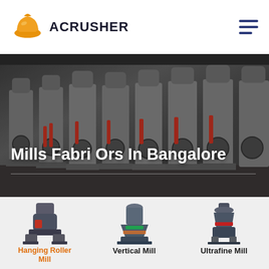[Figure (logo): Acrusher logo: orange construction helmet icon with 'ACRUSHER' text in bold dark letters]
[Figure (photo): Industrial mill machinery in a factory floor, multiple large vertical roller mills in a row, dark grayish factory interior]
Mills Fabri Ors In Bangalore
[Figure (photo): Three product images: Hanging Roller Mill (small dark machine), Vertical Mill (tall gray-green machine), Ultrafine Mill (compact gray machine)]
Hanging Roller Mill
Vertical Mill
Ultrafine Mill